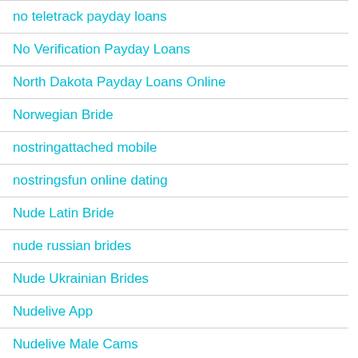no teletrack payday loans
No Verification Payday Loans
North Dakota Payday Loans Online
Norwegian Bride
nostringattached mobile
nostringsfun online dating
Nude Latin Bride
nude russian brides
Nude Ukrainian Brides
Nudelive App
Nudelive Male Cams
oasis active review